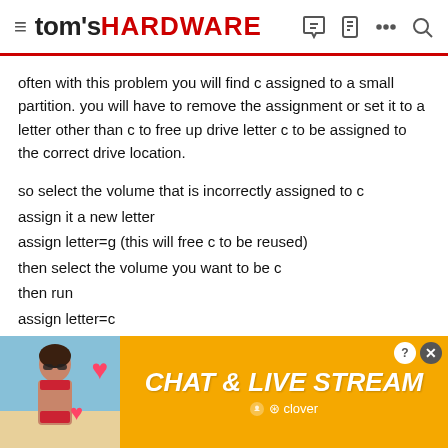tom's HARDWARE
often with this problem you will find c assigned to a small partition. you will have to remove the assignment or set it to a letter other than c to free up drive letter c to be assigned to the correct drive location.
so select the volume that is incorrectly assigned to c
assign it a new letter
assign letter=g (this will free c to be reused)
then select the volume you want to be c
then run
assign letter=c
list volume (to check that it is ok)
exit (to close the app)
remove the usb thumb drive and reboot.

later I would go into windows control panel and remove the intel
[Figure (other): Advertisement banner for Chat & Live Stream by Clover with a woman in red bikini and pink heart decorations on a yellow/orange background]